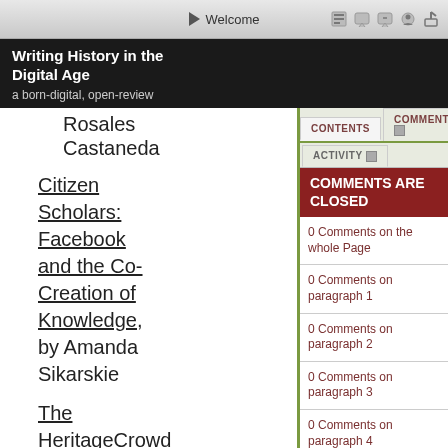Welcome
Writing History in the Digital Age
a born-digital, open-review
Rosales Castaneda
Citizen Scholars: Facebook and the Co-Creation of Knowledge, by Amanda Sikarskie
The HeritageCrowd Project: A Case Study
CONTENTS
COMMENTS
ACTIVITY
COMMENTS ARE CLOSED
0 Comments on the whole Page
0 Comments on paragraph 1
0 Comments on paragraph 2
0 Comments on paragraph 3
0 Comments on paragraph 4
0 Comments on paragraph 5